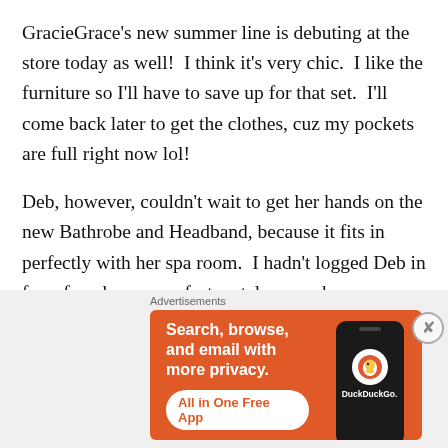GracieGrace's new summer line is debuting at the store today as well!  I think it's very chic.  I like the furniture so I'll have to save up for that set.  I'll come back later to get the clothes, cuz my pockets are full right now lol!
Deb, however, couldn't wait to get her hands on the new Bathrobe and Headband, because it fits in perfectly with her spa room.  I hadn't logged Deb in for a few days, so unfortunately a roach was spotted running around inside!  EEP!  Don't worry, Deb took care of it and the Spa is now sanitized lol
Advertisements
[Figure (screenshot): DuckDuckGo advertisement banner showing orange background with text 'Search, browse, and email with more privacy. All in One Free App' and an image of a phone with DuckDuckGo branding]